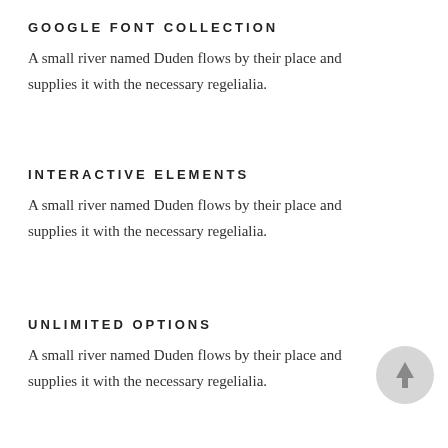GOOGLE FONT COLLECTION
A small river named Duden flows by their place and supplies it with the necessary regelialia.
INTERACTIVE ELEMENTS
A small river named Duden flows by their place and supplies it with the necessary regelialia.
UNLIMITED OPTIONS
A small river named Duden flows by their place and supplies it with the necessary regelialia.
[Figure (illustration): Circular scroll-to-top button with upward arrow icon, light gray background]